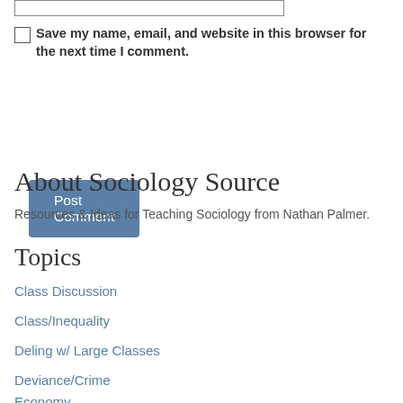[input box]
Save my name, email, and website in this browser for the next time I comment.
Post Comment
About Sociology Source
Resources & Ideas for Teaching Sociology from Nathan Palmer.
Topics
Class Discussion
Class/Inequality
Deling w/ Large Classes
Deviance/Crime
Economy